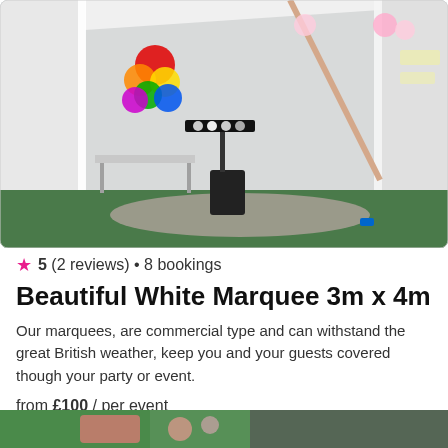[Figure (photo): A white pop-up marquee tent set up outdoors in a garden, with colorful balloons/decorations inside, a speaker stand with lights, a folding table, and gravel/grass floor visible.]
★ 5 (2 reviews) • 8 bookings
Beautiful White Marquee 3m x 4m
Our marquees, are commercial type and can withstand the great British weather, keep you and your guests covered though your party or event.
from £100 / per event
[Figure (photo): Partial bottom strip of another listing photo showing greenery and colorful decorations.]